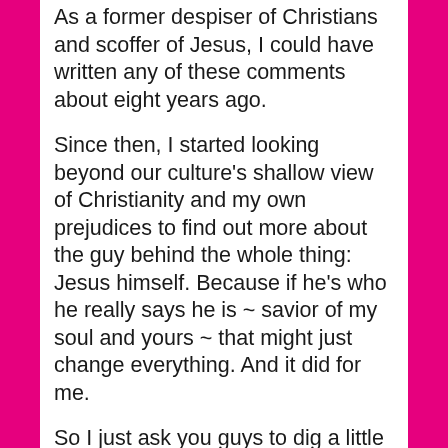As a former despiser of Christians and scoffer of Jesus, I could have written any of these comments about eight years ago.
Since then, I started looking beyond our culture's shallow view of Christianity and my own prejudices to find out more about the guy behind the whole thing: Jesus himself. Because if he's who he really says he is ~ savior of my soul and yours ~ that might just change everything. And it did for me.
So I just ask you guys to dig a little deeper. The book of John is a great place to get a real feel for JC. http://www.biblegateway.com/passage/?search=John+1&version=MSG
It's far too easy to pick on Christians. My goodness, we can be an annoyingly flawed bunch. But look past us, will you, and check out